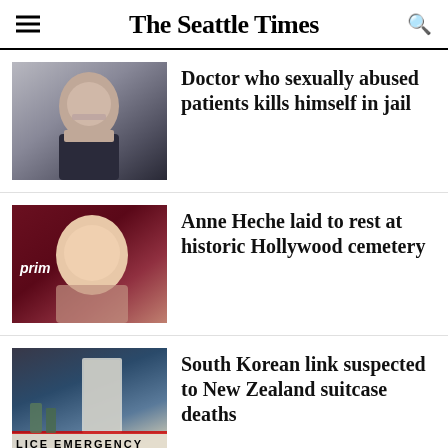The Seattle Times
[Figure (photo): Middle-aged man with glasses and dark jacket, outdoor background]
Doctor who sexually abused patients kills himself in jail
[Figure (photo): Blonde woman smiling at camera, Amazon Prime backdrop]
Anne Heche laid to rest at historic Hollywood cemetery
[Figure (photo): Police emergency tape in foreground, people and vehicles in background]
South Korean link suspected to New Zealand suitcase deaths